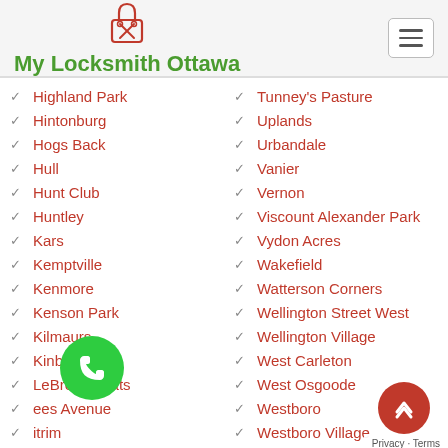[Figure (logo): My Locksmith Ottawa logo with padlock and crossed keys icon]
My Locksmith Ottawa
Highland Park
Hintonburg
Hogs Back
Hull
Hunt Club
Huntley
Kars
Kemptville
Kenmore
Kenson Park
Kilmaurs
Kinburn
LeBreton Flats
…ees Avenue
…itrim
…imoges
Lincoln Heights
Lindenlea
Tunney's Pasture
Uplands
Urbandale
Vanier
Vernon
Viscount Alexander Park
Vydon Acres
Wakefield
Watterson Corners
Wellington Street West
Wellington Village
West Carleton
West Osgoode
Westboro
Westboro Village
Westmont Estates
Westwood
Whitehaven